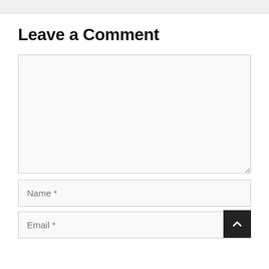Leave a Comment
[Comment textarea — empty]
Name *
Email *